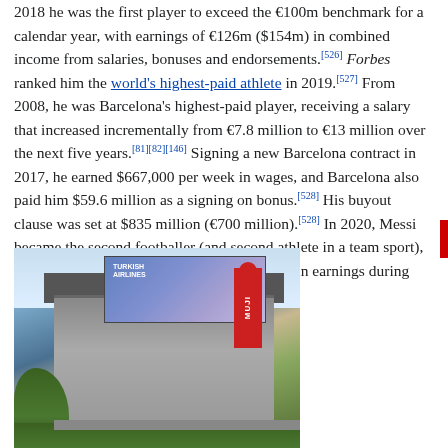2018 he was the first player to exceed the €100m benchmark for a calendar year, with earnings of €126m ($154m) in combined income from salaries, bonuses and endorsements.[526] Forbes ranked him the world's highest-paid athlete in 2019.[527] From 2008, he was Barcelona's highest-paid player, receiving a salary that increased incrementally from €7.8 million to €13 million over the next five years.[81][82][146] Signing a new Barcelona contract in 2017, he earned $667,000 per week in wages, and Barcelona also paid him $59.6 million as a signing on bonus.[528] His buyout clause was set at $835 million (€700 million).[528] In 2020, Messi became the second footballer (and second athlete in a team sport), after Cristiano Ronaldo, to surpass $1 billion in earnings during their careers.[529]
[Figure (photo): Photograph of a commercial building with a large Turkish Airlines billboard featuring a person, and a red MUJI store sign. Trees are visible in the foreground and the photo is taken from street level looking up.]